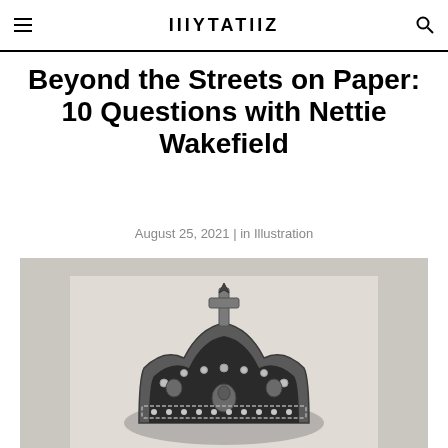IIIYTATIIZ
Beyond the Streets on Paper: 10 Questions with Nettie Wakefield
August 25, 2021 | in Illustration
[Figure (photo): Black and white photograph of an ornate decorative crown with jewels, pearls, and intricate metalwork, displayed against a light background]